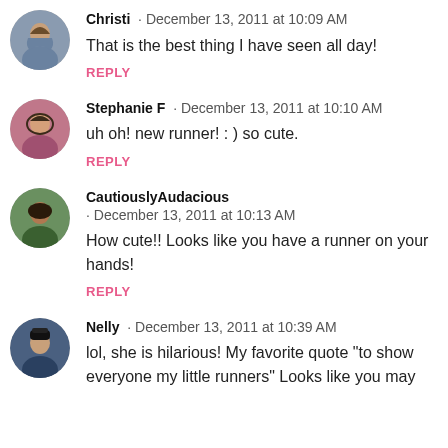Christi · December 13, 2011 at 10:09 AM
That is the best thing I have seen all day!
REPLY
Stephanie F · December 13, 2011 at 10:10 AM
uh oh! new runner! : ) so cute.
REPLY
CautiouslyAudacious · December 13, 2011 at 10:13 AM
How cute!! Looks like you have a runner on your hands!
REPLY
Nelly · December 13, 2011 at 10:39 AM
lol, she is hilarious! My favorite quote "to show everyone my little runners" Looks like you may